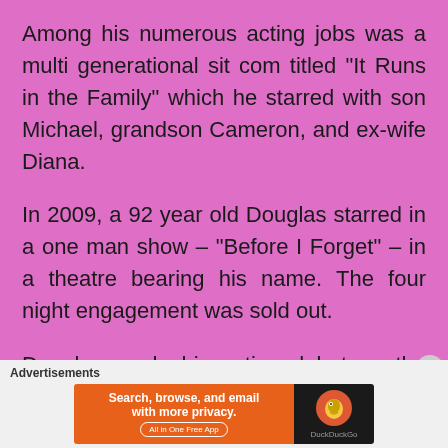Among his numerous acting jobs was a multi generational sit com titled “It Runs in the Family” which he starred with son Michael, grandson Cameron, and ex-wife Diana.
In 2009, a 92 year old Douglas starred in a one man show – “Before I Forget” – in a theatre bearing his name. The four night engagement was sold out.
Douglas made his acting debut on the Broadway stage in 1941 with “Spring Again”. His other Broadway roles are “The Three Sisters”, “Kiss and Tell”, “Trio”, “Alice in Arms”, “The Wind is Ninety”,
Advertisements
[Figure (screenshot): DuckDuckGo advertisement banner: orange left side reading 'Search, browse, and email with more privacy. All in One Free App', dark right side with DuckDuckGo logo]